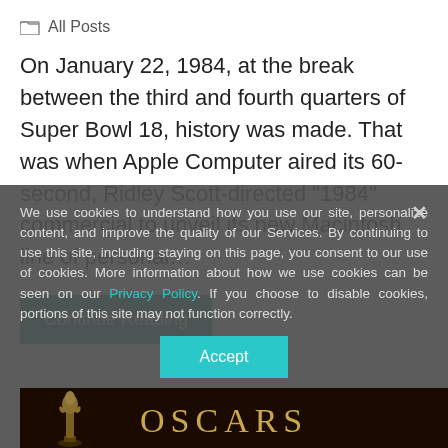All Posts
On January 22, 1984, at the break between the third and fourth quarters of Super Bowl 18, history was made. That was when Apple Computer aired its 60-second, Ridley Scott-directed “1984” commercial to unveil its new Macintosh line of personal…
Continue Reading
We use cookies to understand how you use our site, personalize content, and improve the quality of our Services. By continuing to use this site, including staying on this page, you consent to our use of cookies. More information about how we use cookies can be seen on our Privacy Policy. If you choose to disable cookies, portions of this site may not function correctly.
Accept
[Figure (photo): Bottom dark banner showing an Oscar statuette silhouette and the text OSCARS in gold lettering on a dark background]